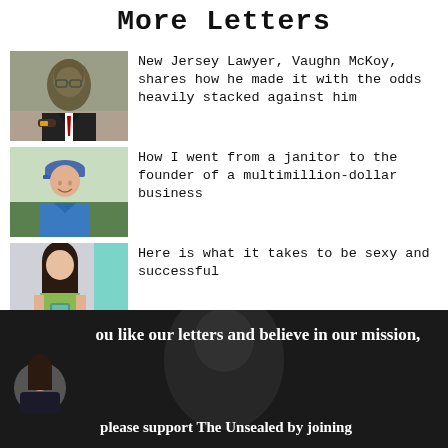More Letters
[Figure (photo): Portrait of a bald Black man in a dark suit, arms crossed, looking at camera]
New Jersey Lawyer, Vaughn McKoy, shares how he made it with the odds heavily stacked against him
[Figure (photo): Older white man smiling, wearing a blue polo shirt and blue cap, outdoors]
How I went from a janitor to the founder of a multimillion-dollar business
[Figure (photo): Young woman taking a mirror selfie, wearing a green crop top, holding a phone]
Here is what it takes to be sexy and successful
[Figure (photo): Dark background with a person silhouette; woman avatar in circle on left; text overlay]
ou like our letters and believe in our mission, please support The Unsealed by joining